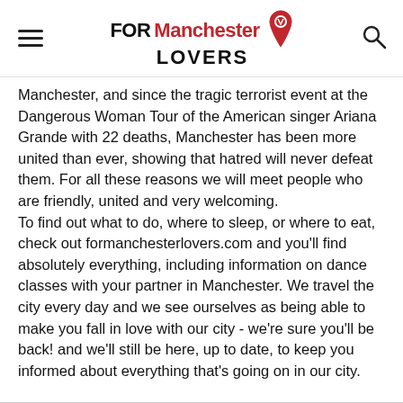FOR Manchester LOVERS
Manchester, and since the tragic terrorist event at the Dangerous Woman Tour of the American singer Ariana Grande with 22 deaths, Manchester has been more united than ever, showing that hatred will never defeat them. For all these reasons we will meet people who are friendly, united and very welcoming.
To find out what to do, where to sleep, or where to eat, check out formanchesterlovers.com and you'll find absolutely everything, including information on dance classes with your partner in Manchester. We travel the city every day and we see ourselves as being able to make you fall in love with our city - we're sure you'll be back! and we'll still be here, up to date, to keep you informed about everything that's going on in our city.